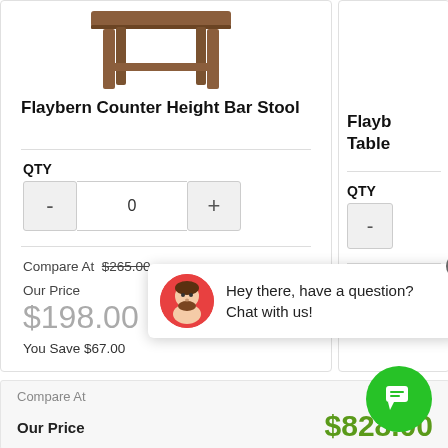[Figure (illustration): Top portion of a wooden counter height bar stool product image, showing the seat and legs in brown wood finish]
Flaybern Counter Height Bar Stool
QTY
- 0 +
Compare At $265.00
Our Price
$198.00
You Save $67.00
Flayb Table
QTY
-
Compa
Our Pr
[Figure (illustration): Chat support widget with avatar and message: Hey there, have a question? Chat with us!]
Compare At
Our Price
$828.00